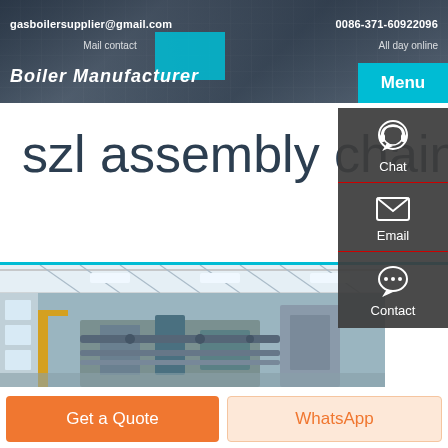gasboilersupplier@gmail.com  |  0086-371-60922096  |  Mail contact  |  All day online
szl assembly chain gate boiler Agent
[Figure (photo): Industrial boiler manufacturing facility interior showing steel roof trusses, industrial piping and boiler equipment]
Chat | Email | Contact
Get a Quote  |  WhatsApp